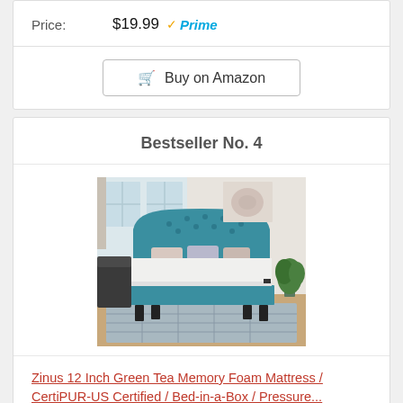| Price: | $19.99 Prime |
| --- | --- |
Buy on Amazon
Bestseller No. 4
[Figure (photo): Bed with teal upholstered headboard and white mattress in a bedroom setting]
Zinus 12 Inch Green Tea Memory Foam Mattress / CertiPUR-US Certified / Bed-in-a-Box / Pressure...